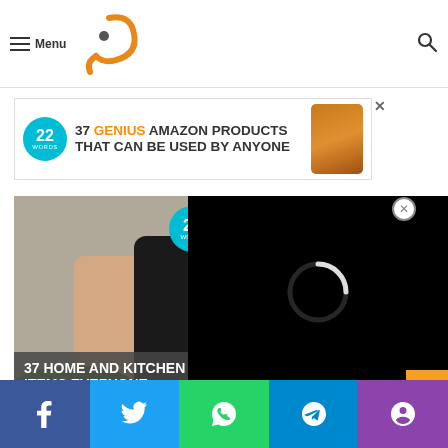Menu | Outed logo | Search
[Figure (infographic): Advertisement banner: 22 Words badge, '37 GENIUS AMAZON PRODUCTS THAT CAN BE USED BY ANYONE' with product image]
[Figure (photo): Advertisement: person holding kitchen item, overlay text '37 HOME AND KITCHEN ITEMS EVERYONE SHOULD OWN', with video player overlay showing loading spinner]
Social share buttons: Facebook, Twitter, WhatsApp, Telegram, Phone